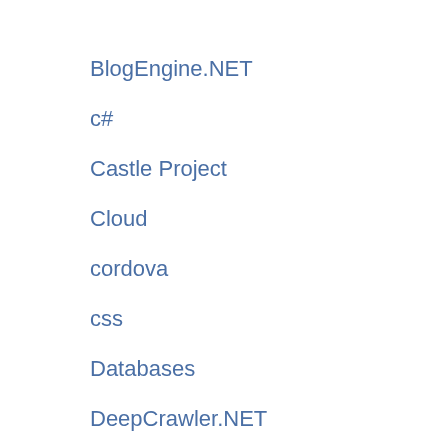BlogEngine.NET
c#
Castle Project
Cloud
cordova
css
Databases
DeepCrawler.NET
Deployment
DesignPatterns
entity-framework